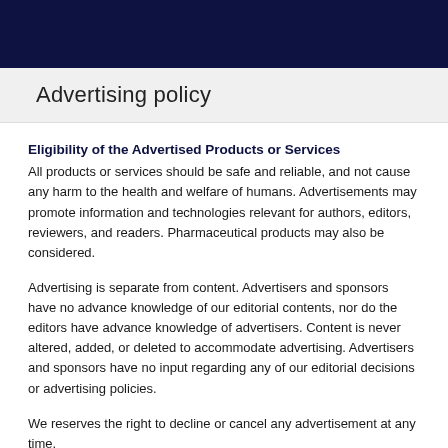Advertising policy
Eligibility of the Advertised Products or Services
All products or services should be safe and reliable, and not cause any harm to the health and welfare of humans. Advertisements may promote information and technologies relevant for authors, editors, reviewers, and readers. Pharmaceutical products may also be considered.
Advertising is separate from content. Advertisers and sponsors have no advance knowledge of our editorial contents, nor do the editors have advance knowledge of advertisers. Content is never altered, added, or deleted to accommodate advertising. Advertisers and sponsors have no input regarding any of our editorial decisions or advertising policies.
We reserves the right to decline or cancel any advertisement at any time.